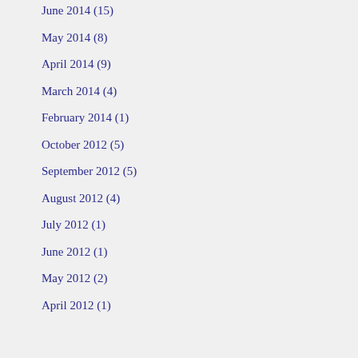June 2014 (15)
May 2014 (8)
April 2014 (9)
March 2014 (4)
February 2014 (1)
October 2012 (5)
September 2012 (5)
August 2012 (4)
July 2012 (1)
June 2012 (1)
May 2012 (2)
April 2012 (1)